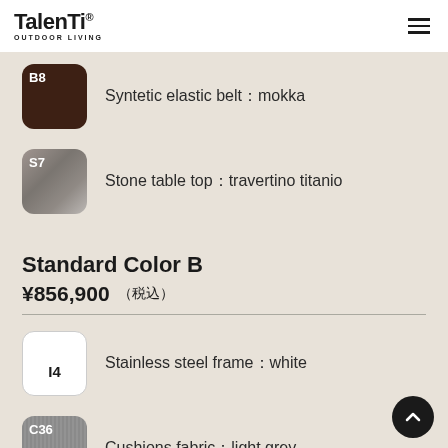Talenti OUTDOOR LIVING
B8  Syntetic elastic belt：mokka
S7  Stone table top：travertino titanio
Standard Color B
¥856,900（税込）
I4  Stainless steel frame：white
C36  Cushions fabric：light grey